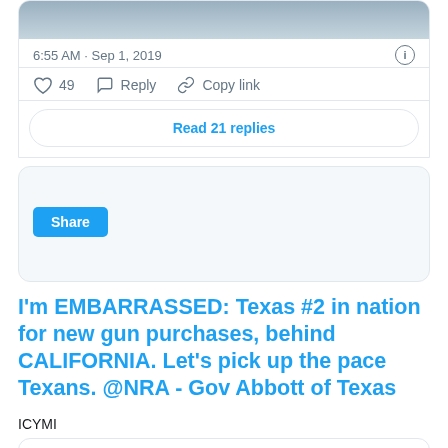[Figure (screenshot): Top portion of a tweet card showing a cropped photo of a person in a suit]
6:55 AM · Sep 1, 2019
49  Reply  Copy link
Read 21 replies
[Figure (screenshot): Share card section with a Share button]
I'm EMBARRASSED: Texas #2 in nation for new gun purchases, behind CALIFORNIA. Let's pick up the pace Texans. @NRA - Gov Abbott of Texas
ICYMI